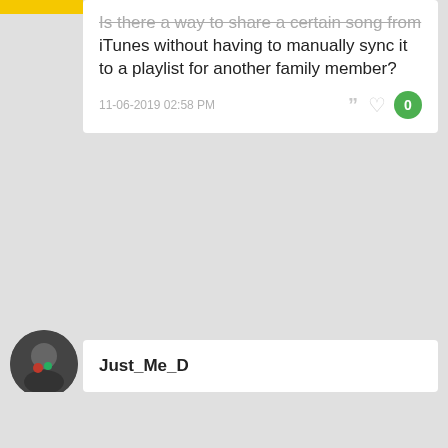Is there a way to share a certain song from iTunes without having to manually sync it to a playlist for another family member?
11-06-2019 02:58 PM
Just_Me_D